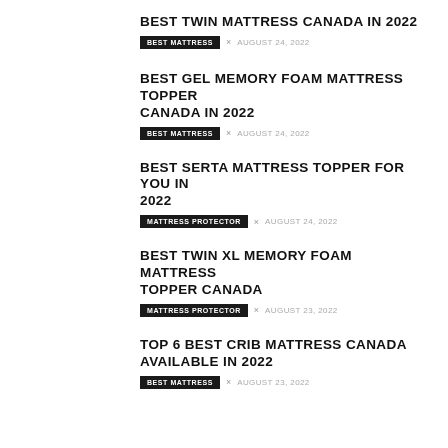BEST TWIN MATTRESS CANADA IN 2022
BEST MATTRESS × AUGUST 24, 2022
BEST GEL MEMORY FOAM MATTRESS TOPPER CANADA IN 2022
BEST MATTRESS × AUGUST 24, 2022
BEST SERTA MATTRESS TOPPER FOR YOU IN 2022
MATTRESS PROTECTOR × AUGUST 24, 2022
BEST TWIN XL MEMORY FOAM MATTRESS TOPPER CANADA
MATTRESS PROTECTOR × AUGUST 23, 2022
TOP 6 BEST CRIB MATTRESS CANADA AVAILABLE IN 2022
BEST MATTRESS × AUGUST 23, 2022